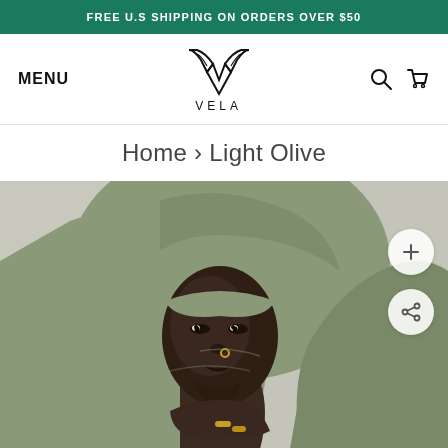FREE U.S SHIPPING ON ORDERS OVER $50
MENU
[Figure (logo): VELA brand logo — stylized V with wing motifs above the wordmark VELA]
Home › Light Olive
[Figure (photo): A Black woman wearing a light olive/sage green hijab, looking upward. She has a gold nose ring and gold rings on her fingers. Photo is shot against a light grey background.]